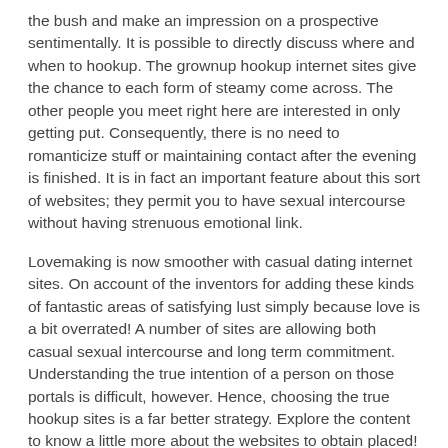the bush and make an impression on a prospective sentimentally. It is possible to directly discuss where and when to hookup. The grownup hookup internet sites give the chance to each form of steamy come across. The other people you meet right here are interested in only getting put. Consequently, there is no need to romanticize stuff or maintaining contact after the evening is finished. It is in fact an important feature about this sort of websites; they permit you to have sexual intercourse without having strenuous emotional link.
Lovemaking is now smoother with casual dating internet sites. On account of the inventors for adding these kinds of fantastic areas of satisfying lust simply because love is a bit overrated! A number of sites are allowing both casual sexual intercourse and long term commitment. Understanding the true intention of a person on those portals is difficult, however. Hence, choosing the true hookup sites is a far better strategy. Explore the content to know a little more about the websites to obtain placed!
Find a Gay Guy to Hook Up With